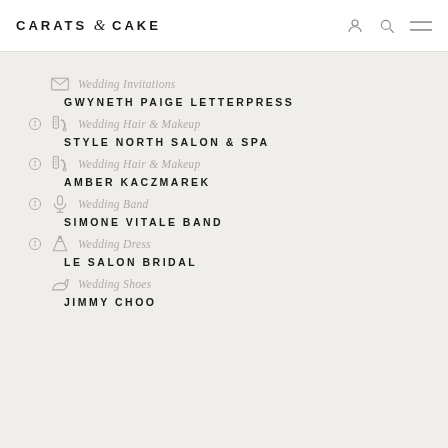CARATS & CAKE
Wedding Invitations — GWYNETH PAIGE LETTERPRESS
Wedding Hair & Makeup — STYLE NORTH SALON & SPA
Wedding Hair & Makeup — AMBER KACZMAREK
Wedding Band — SIMONE VITALE BAND
Wedding Dress — LE SALON BRIDAL
Wedding Shoes — JIMMY CHOO